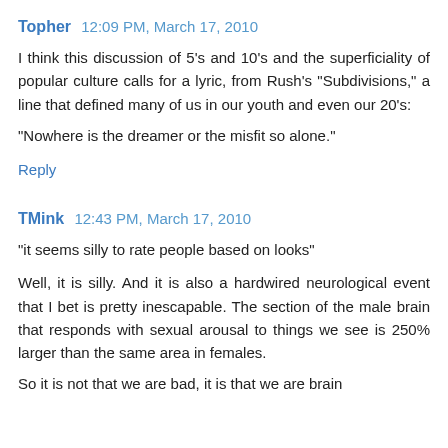Topher  12:09 PM, March 17, 2010
I think this discussion of 5's and 10's and the superficiality of popular culture calls for a lyric, from Rush's "Subdivisions," a line that defined many of us in our youth and even our 20's:
"Nowhere is the dreamer or the misfit so alone."
Reply
TMink  12:43 PM, March 17, 2010
"it seems silly to rate people based on looks"
Well, it is silly. And it is also a hardwired neurological event that I bet is pretty inescapable. The section of the male brain that responds with sexual arousal to things we see is 250% larger than the same area in females.
So it is not that we are bad, it is that we are brain